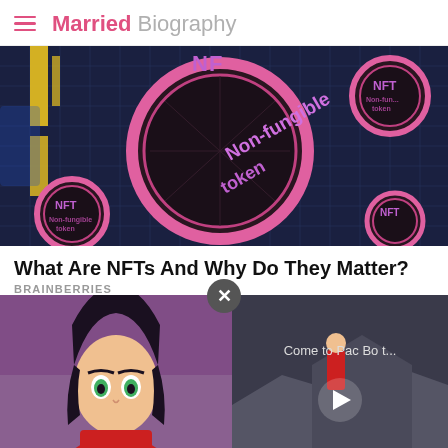Married Biography
[Figure (photo): NFT non-fungible token coins on a circuit board background, showing purple and pink NFT coins with 'Non-fungible token' text]
What Are NFTs And Why Do They Matter?
BRAINBERRIES
[Figure (screenshot): Anime-style character with dark hair and green eyes on left, video overlay on right showing 'Come to Pac Bo t...' with play button]
Next Article >> Meet Ch... Husband Christian Richard!